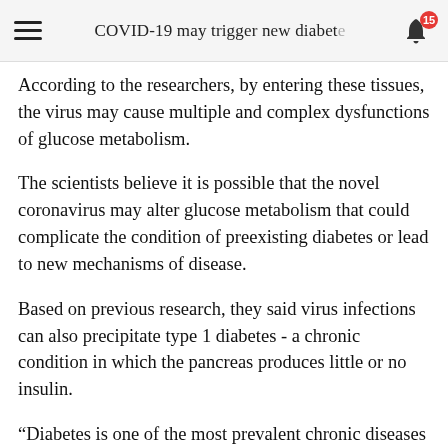COVID-19 may trigger new diabet…
According to the researchers, by entering these tissues, the virus may cause multiple and complex dysfunctions of glucose metabolism.
The scientists believe it is possible that the novel coronavirus may alter glucose metabolism that could complicate the condition of preexisting diabetes or lead to new mechanisms of disease.
Based on previous research, they said virus infections can also precipitate type 1 diabetes - a chronic condition in which the pancreas produces little or no insulin.
“Diabetes is one of the most prevalent chronic diseases and we are now realising the consequences of the inevitable clash between two pandemics,” said Francesco